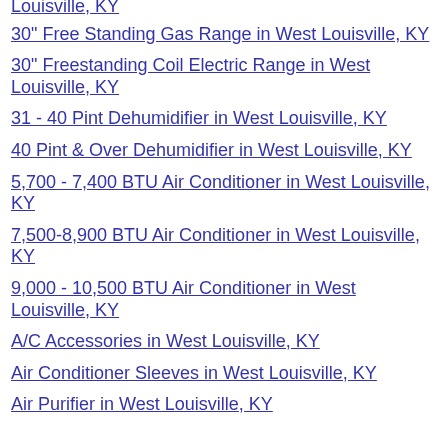Louisville, KY
30" Free Standing Gas Range in West Louisville, KY
30" Freestanding Coil Electric Range in West Louisville, KY
31 - 40 Pint Dehumidifier in West Louisville, KY
40 Pint & Over Dehumidifier in West Louisville, KY
5,700 - 7,400 BTU Air Conditioner in West Louisville, KY
7,500-8,900 BTU Air Conditioner in West Louisville, KY
9,000 - 10,500 BTU Air Conditioner in West Louisville, KY
A/C Accessories in West Louisville, KY
Air Conditioner Sleeves in West Louisville, KY
Air Purifier in West Louisville, KY